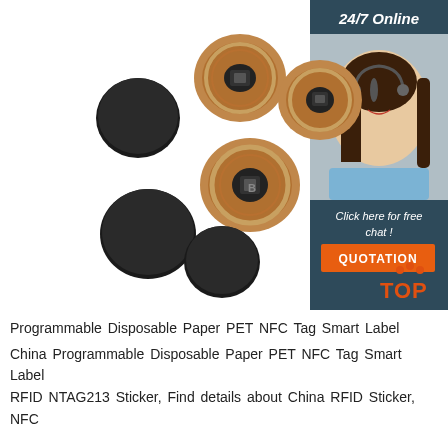[Figure (photo): Multiple RFID/NFC coin tag discs shown: some black (front side), some showing copper coil antenna ring with metal chip center (back side). Arranged in a scattered grouping on white background. In the top-right corner, a 24/7 Online customer service panel in dark blue shows a smiling woman with headset, with 'Click here for free chat!' text and an orange QUOTATION button.]
Programmable Disposable Paper PET NFC Tag Smart Label China Programmable Disposable Paper PET NFC Tag Smart Label RFID NTAG213 Sticker, Find details about China RFID Sticker, NFC